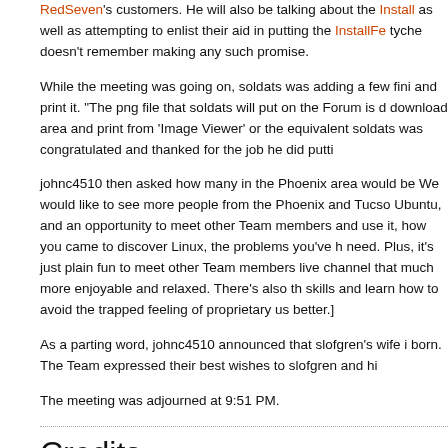RedSeven's customers. He will also be talking about the Install as well as attempting to enlist their aid in putting the InstallFe tyche doesn't remember making any such promise.
While the meeting was going on, soldats was adding a few fini and print it. "The png file that soldats will put on the Forum is download area and print from 'Image Viewer' or the equivalent soldats was congratulated and thanked for the job he did putti
johnc4510 then asked how many in the Phoenix area would be We would like to see more people from the Phoenix and Tucso Ubuntu, and an opportunity to meet other Team members and use it, how you came to discover Linux, the problems you've h need. Plus, it's just plain fun to meet other Team members live channel that much more enjoyable and relaxed. There's also t skills and learn how to avoid the trapped feeling of proprietary us better.]
As a parting word, johnc4510 announced that slofgren's wife i born. The Team expressed their best wishes to slofgren and hi
The meeting was adjourned at 9:51 PM.
Credits